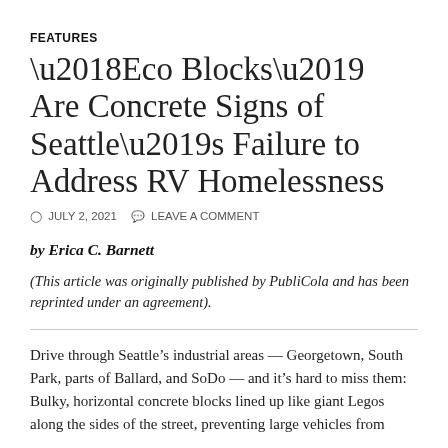FEATURES
‘Eco Blocks’ Are Concrete Signs of Seattle’s Failure to Address RV Homelessness
JULY 2, 2021   LEAVE A COMMENT
by Erica C. Barnett
(This article was originally published by PubliCola and has been reprinted under an agreement).
Drive through Seattle’s industrial areas — Georgetown, South Park, parts of Ballard, and SoDo — and it’s hard to miss them: Bulky, horizontal concrete blocks lined up like giant Legos along the sides of the street, preventing large vehicles from